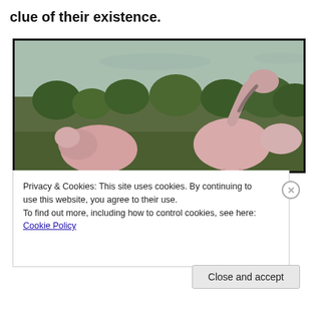clue of their existence.
[Figure (photo): Flamingos standing among green shrubs and marshy water, pink birds in a natural wetland habitat.]
Privacy & Cookies: This site uses cookies. By continuing to use this website, you agree to their use.
To find out more, including how to control cookies, see here: Cookie Policy